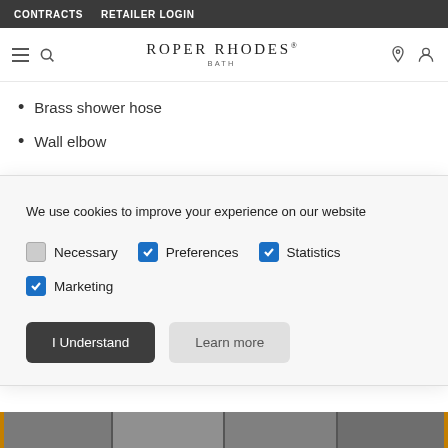CONTRACTS   RETAILER LOGIN
[Figure (screenshot): Roper Rhodes Bath website navigation bar with hamburger menu, search icon, logo, location pin and user account icons]
Brass shower hose
Wall elbow
We use cookies to improve your experience on our website
Necessary  Preferences  Statistics  Marketing (checkboxes with Preferences, Statistics, Marketing checked)
I Understand   Learn more